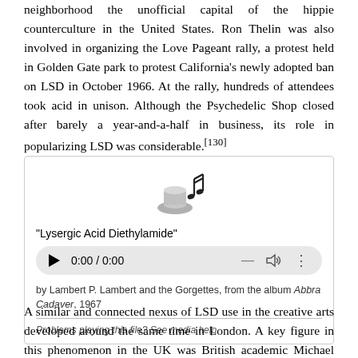neighborhood the unofficial capital of the hippie counterculture in the United States. Ron Thelin was also involved in organizing the Love Pageant rally, a protest held in Golden Gate park to protest California's newly adopted ban on LSD in October 1966. At the rally, hundreds of attendees took acid in unison. Although the Psychedelic Shop closed after barely a year-and-a-half in business, its role in popularizing LSD was considerable.[130]
[Figure (other): Audio player widget for 'Lysergic Acid Diethylamide' by Lambert P. Lambert and the Gorgettes, from the album Abbra Cadaver, 1967. Shows play button, 0:00 / 0:00 timestamp, volume control, and options button. Includes music note icon at top and footer note: Problems playing this file? See media help.]
A similar and connected nexus of LSD use in the creative arts developed around the same time in London. A key figure in this phenomenon in the UK was British academic Michael Hollingshead, who first tried LSD in America in 1961, while he was the Executive...